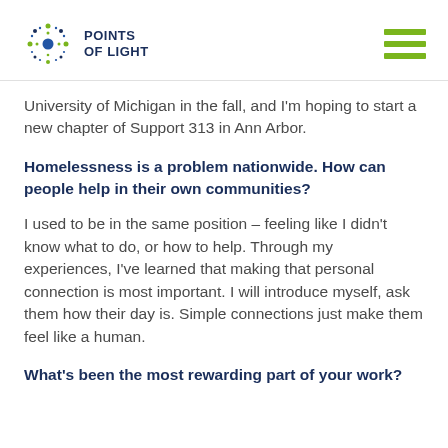POINTS OF LIGHT
University of Michigan in the fall, and I'm hoping to start a new chapter of Support 313 in Ann Arbor.
Homelessness is a problem nationwide. How can people help in their own communities?
I used to be in the same position – feeling like I didn't know what to do, or how to help. Through my experiences, I've learned that making that personal connection is most important. I will introduce myself, ask them how their day is. Simple connections just make them feel like a human.
What's been the most rewarding part of your work?